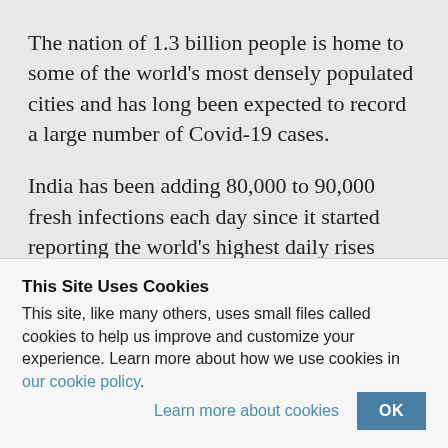The nation of 1.3 billion people is home to some of the world’s most densely populated cities and has long been expected to record a large number of Covid-19 cases.
India has been adding 80,000 to 90,000 fresh infections each day since it started reporting the world’s highest daily rises from late August
This Site Uses Cookies
This site, like many others, uses small files called cookies to help us improve and customize your experience. Learn more about how we use cookies in our cookie policy.
Learn more about cookies
OK